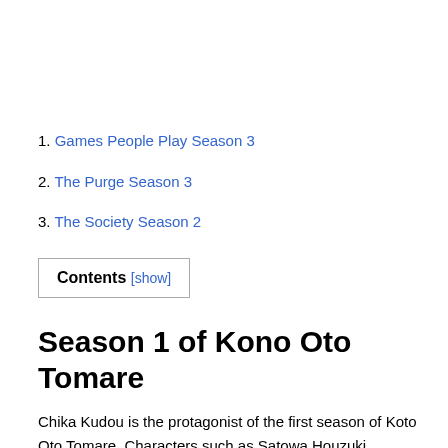1. Games People Play Season 3
2. The Purge Season 3
3. The Society Season 2
Contents [show]
Season 1 of Kono Oto Tomare
Chika Kudou is the protagonist of the first season of Koto Oto Tomare. Characters such as Satowa Houzuki, Takezou Kurata and Hiro Kurusu also play major roles in this...